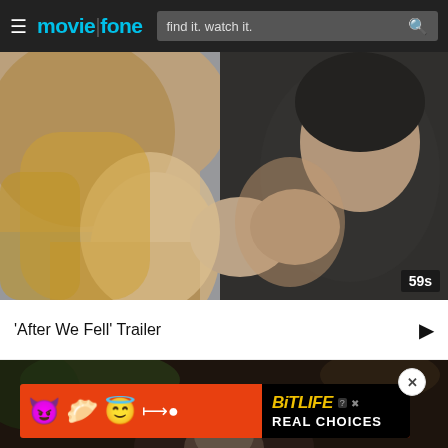moviefone — find it. watch it.
[Figure (photo): Close-up photo of a blonde woman and a dark-haired man leaning foreheads together, about to kiss, in a romantic movie scene. A '59s' badge appears in the bottom-right corner.]
'After We Fell' Trailer
[Figure (photo): Dark cinematic photo of a person's face partially visible at the bottom of the screen, behind an advertisement banner.]
[Figure (infographic): BitLife advertisement banner featuring devil emoji, person with forks emoji, and angel emoji on a red background, with 'BitLife REAL CHOICES' text on a black background on the right side.]